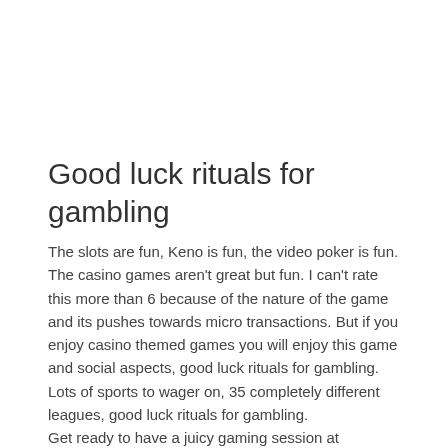Good luck rituals for gambling
The slots are fun, Keno is fun, the video poker is fun. The casino games aren't great but fun. I can't rate this more than 6 because of the nature of the game and its pushes towards micro transactions. But if you enjoy casino themed games you will enjoy this game and social aspects, good luck rituals for gambling.
Lots of sports to wager on, 35 completely different leagues, good luck rituals for gambling.
Get ready to have a juicy gaming session at